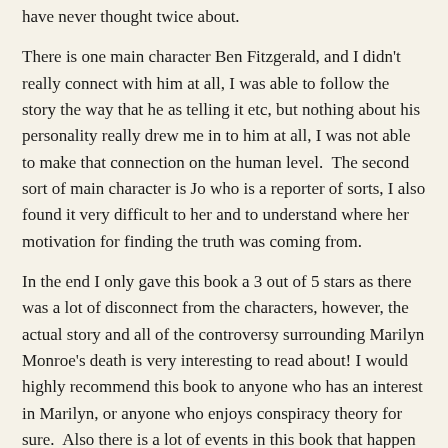have never thought twice about.
There is one main character Ben Fitzgerald, and I didn't really connect with him at all, I was able to follow the story the way that he as telling it etc, but nothing about his personality really drew me in to him at all, I was not able to make that connection on the human level.  The second sort of main character is Jo who is a reporter of sorts, I also found it very difficult to her and to understand where her motivation for finding the truth was coming from.
In the end I only gave this book a 3 out of 5 stars as there was a lot of disconnect from the characters, however, the actual story and all of the controversy surrounding Marilyn Monroe's death is very interesting to read about! I would highly recommend this book to anyone who has an interest in Marilyn, or anyone who enjoys conspiracy theory for sure.  Also there is a lot of events in this book that happen to him because he is trying to seek out the truth behind her death, and that made the book a little exciting as well as you did not know where it was going to go next in that aspect.
Bookmark & Review 3.04